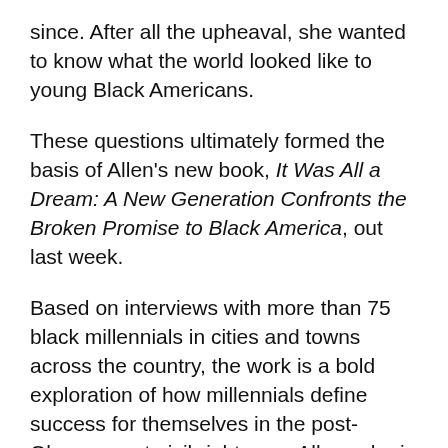since. After all the upheaval, she wanted to know what the world looked like to young Black Americans.
These questions ultimately formed the basis of Allen's new book, It Was All a Dream: A New Generation Confronts the Broken Promise to Black America, out last week.
Based on interviews with more than 75 black millennials in cities and towns across the country, the work is a bold exploration of how millennials define success for themselves in the post-Obama, post-civil-rights era. Allen, who is an Eisner Fellow at the Nation Institute and a former fellow at New America and Demos, turns to many places for answers including journalism, sociology, and political science, to better understand the…